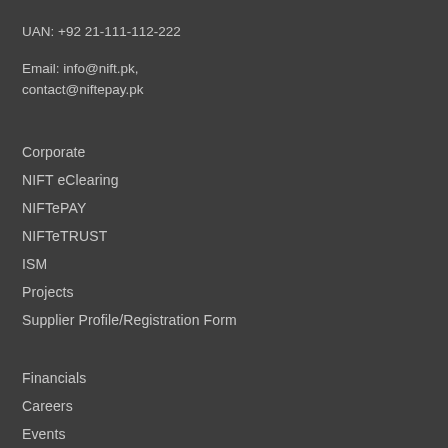UAN: +92 21-111-112-222
Email: info@nift.pk, contact@niftepay.pk
Corporate
NIFT eClearing
NIFTePAY
NIFTeTRUST
ISM
Projects
Supplier Profile/Registration Form
Financials
Careers
Events
Terms & Conditions